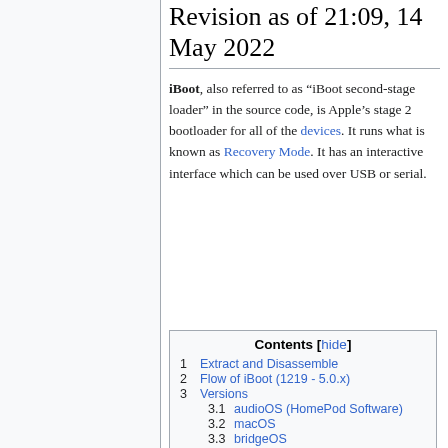Revision as of 21:09, 14 May 2022
iBoot, also referred to as “iBoot second-stage loader” in the source code, is Apple’s stage 2 bootloader for all of the devices. It runs what is known as Recovery Mode. It has an interactive interface which can be used over USB or serial.
Contents [hide]
1  Extract and Disassemble
2  Flow of iBoot (1219 - 5.0.x)
3  Versions
3.1  audioOS (HomePod Software)
3.2  macOS
3.3  bridgeOS
3.4  Haywire
3.5  iOS/iPadOS (iPad, iPhone